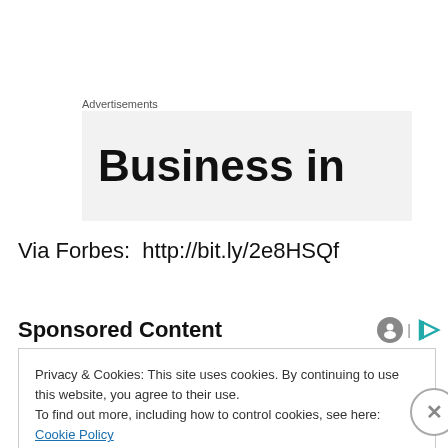Advertisements
[Figure (other): Advertisement banner showing text 'Business in' on a light gray background]
Via Forbes:  http://bit.ly/2e8HSQf
Sponsored Content
Privacy & Cookies: This site uses cookies. By continuing to use this website, you agree to their use.
To find out more, including how to control cookies, see here: Cookie Policy
Close and accept